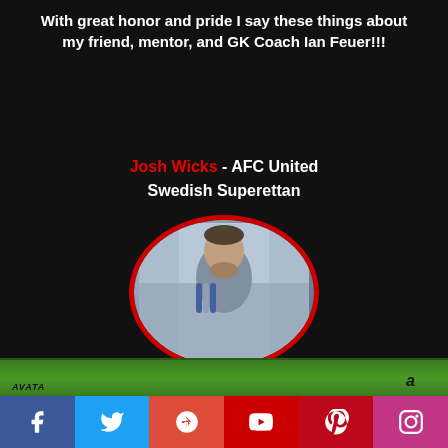With great honor and pride I say these things about my friend, mentor, and GK Coach Ian Feuer!!!
Josh Wicks - AFC United Swedish Superettan
[Figure (photo): Oval portrait photo of soccer goalkeeper Josh Wicks in gray-blue jersey with red oval border frame]
TO BOOK A SESSION AND TO FIND OUT ALL OF THE SERVICES WE PROVIDE VISIT OUR "TRAINING" PAGE
Social media icons: Facebook, Twitter, Google+, YouTube, Pinterest, Instagram